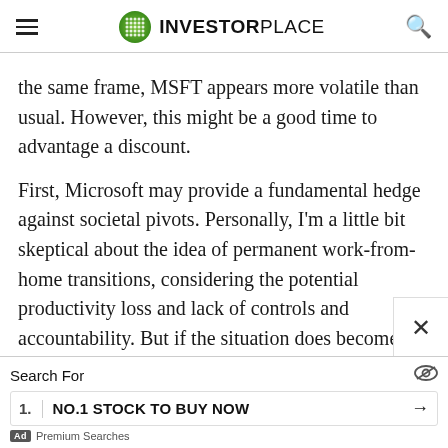INVESTORPLACE
the same frame, MSFT appears more volatile than usual. However, this might be a good time to advantage a discount.
First, Microsoft may provide a fundamental hedge against societal pivots. Personally, I'm a little bit skeptical about the idea of permanent work-from-home transitions, considering the potential productivity loss and lack of controls and accountability. But if the situation does become permanent, Microsoft's myriad platforms offer practical solutions to make the most of the new paradigm.
Search For
1. NO.1 STOCK TO BUY NOW